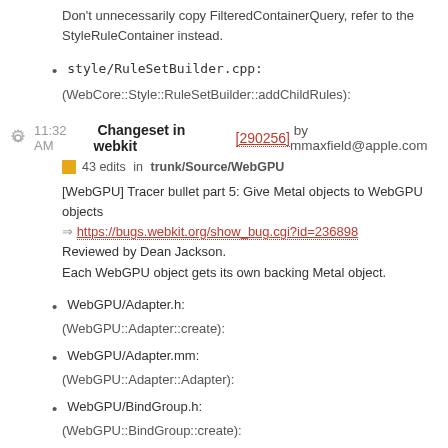Don't unnecessarily copy FilteredContainerQuery, refer to the StyleRuleContainer instead.
style/RuleSetBuilder.cpp:
(WebCore::Style::RuleSetBuilder::addChildRules):
11:32 AM Changeset in webkit [290256] by mmaxfield@apple.com
43 edits in trunk/Source/WebGPU
[WebGPU] Tracer bullet part 5: Give Metal objects to WebGPU objects
https://bugs.webkit.org/show_bug.cgi?id=236898
Reviewed by Dean Jackson.
Each WebGPU object gets its own backing Metal object.
WebGPU/Adapter.h:
(WebGPU::Adapter::create):
WebGPU/Adapter.mm:
(WebGPU::Adapter::Adapter):
WebGPU/BindGroup.h:
(WebGPU::BindGroup::create):
WebGPU/BindGroup.mm:
(WebGPU::Device::createBindGroup):
(WebGPU::BindGroup::BindGroup):